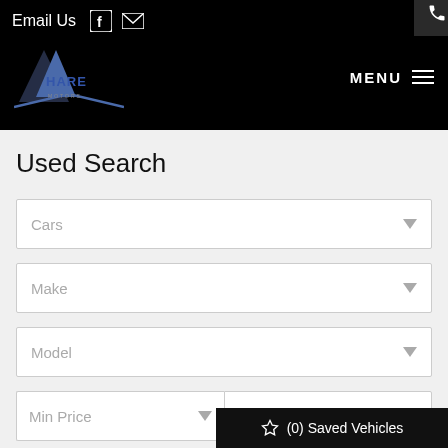Email Us  [Facebook icon] [Email icon]  [Phone button]  HARE MOTORS  MENU
Used Search
Cars [dropdown]
Make [dropdown]
Model [dropdown]
Min Price [dropdown]  Max Price [dropdown]
☆ (0) Saved Vehicles